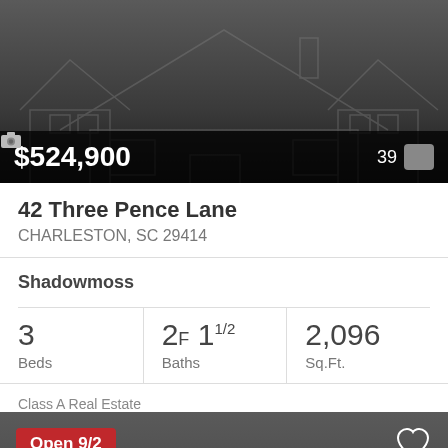[Figure (photo): Dark background with faint house wireframe outline illustration]
$524,900
39 [camera icon]
42 Three Pence Lane
CHARLESTON, SC 29414
Shadowmoss
3 Beds
2F 1 1/2 Baths
2,096 Sq.Ft.
Class A Real Estate
[Figure (photo): Dark background with faint house wireframe illustration, Open 9/2 badge, heart icon]
Open 9/2